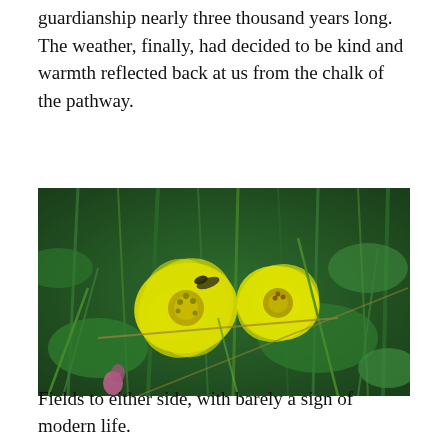guardianship nearly three thousand years long. The weather, finally, had decided to be kind and warmth reflected back at us from the chalk of the pathway.
[Figure (photo): Close-up photograph of two bright yellow flowers (possibly rock-rose or similar) growing among green grass and vegetation in a natural outdoor setting.]
Fields to either side, with barely a sign of modern life.